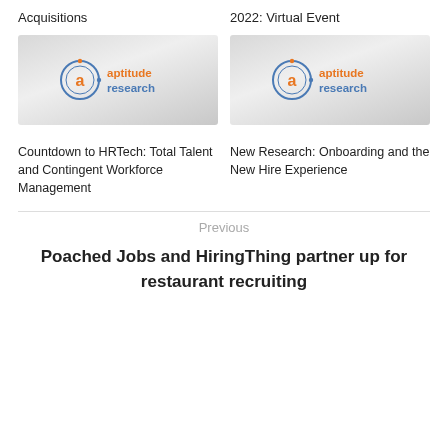Acquisitions
2022: Virtual Event
[Figure (logo): Aptitude Research logo on grey gradient background (left column)]
[Figure (logo): Aptitude Research logo on grey gradient background (right column)]
Countdown to HRTech: Total Talent and Contingent Workforce Management
New Research: Onboarding and the New Hire Experience
Previous
Poached Jobs and HiringThing partner up for restaurant recruiting